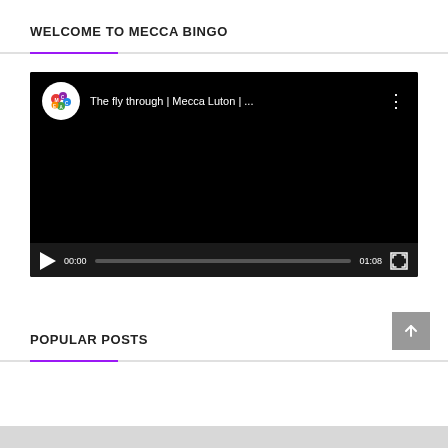WELCOME TO MECCA BINGO
[Figure (screenshot): Embedded YouTube video player showing a dark/black video frame. The video title reads 'The fly through | Mecca Luton | ...' with a Mecca Bingo logo/icon on the left. Video controls show play button, timestamp 00:00, progress bar, end time 01:08, and fullscreen button.]
POPULAR POSTS